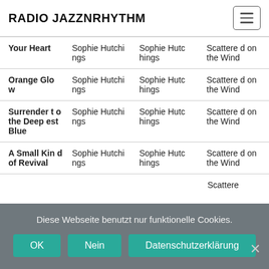RADIO JAZZNRHYTHM
| Title | Artist | Composer | Album |
| --- | --- | --- | --- |
| Your Heart | Sophie Hutchings | Sophie Hutchings | Scattered on the Wind |
| Orange Glow | Sophie Hutchings | Sophie Hutchings | Scattered on the Wind |
| Surrender to the Deepest Blue | Sophie Hutchings | Sophie Hutchings | Scattered on the Wind |
| A Small Kind of Revival | Sophie Hutchings | Sophie Hutchings | Scattered on the Wind |
| (partial row) |  |  | Scattere... |
Diese Webseite benutzt nur funktionelle Cookies.
OK | Nein | Datenschutzerklärung